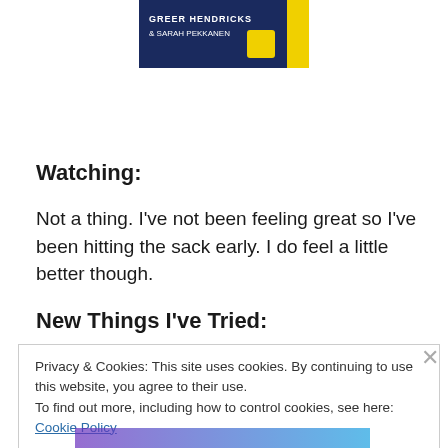[Figure (photo): Book cover image showing authors GREER HENDRICKS & SARAH PEKKANEN with a yellow spine, partially visible at top of page]
Watching:
Not a thing. I've not been feeling great so I've been hitting the sack early. I do feel a little better though.
New Things I've Tried:
Privacy & Cookies: This site uses cookies. By continuing to use this website, you agree to their use.
To find out more, including how to control cookies, see here: Cookie Policy
Close and accept